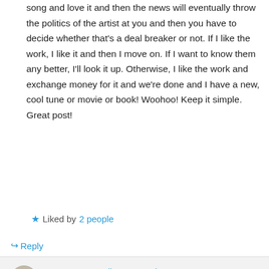song and love it and then the news will eventually throw the politics of the artist at you and then you have to decide whether that’s a deal breaker or not. If I like the work, I like it and then I move on. If I want to know them any better, I’ll look it up. Otherwise, I like the work and exchange money for it and we’re done and I have a new, cool tune or movie or book! Woohoo! Keep it simple. Great post!
★ Liked by 2 people
↳ Reply
Anonymous Scribe on March 3, 2020 at 1:23 am
There really are no secrets anymore, for